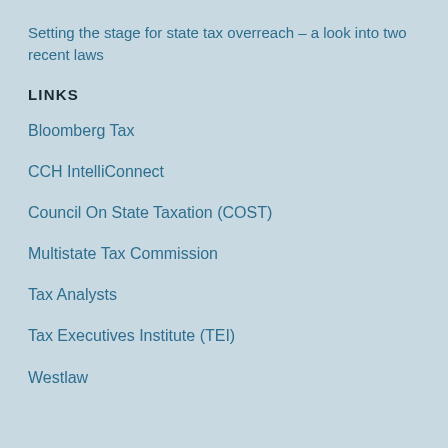Setting the stage for state tax overreach – a look into two recent laws
LINKS
Bloomberg Tax
CCH IntelliConnect
Council On State Taxation (COST)
Multistate Tax Commission
Tax Analysts
Tax Executives Institute (TEI)
Westlaw